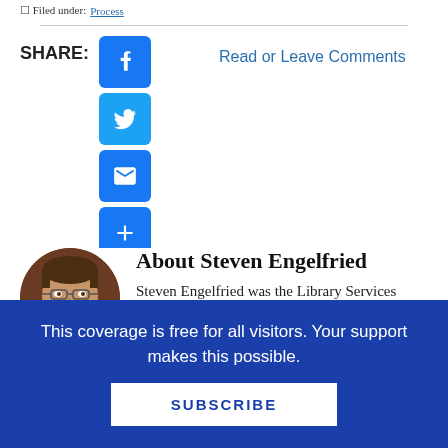Filed under: Process
SHARE: [Facebook] [Twitter] [Email] [+]   Read or Leave Comments
About Steven Engelfried
Steven Engelfried was the Library Services Manager at the Wilsonville Public Library in Oregon until he retired after 35 years as a full-time
This coverage is free for all visitors. Your support makes this possible.
SUBSCRIBE